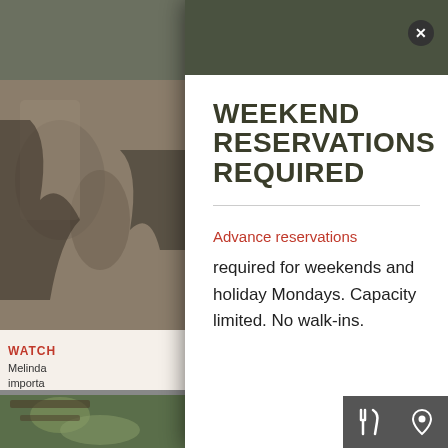[Figure (screenshot): Modal dialog popup over a website background showing images and text on both sides]
WEEKEND RESERVATIONS REQUIRED
Advance reservations
required for weekends and holiday Mondays. Capacity limited. No walk-ins.